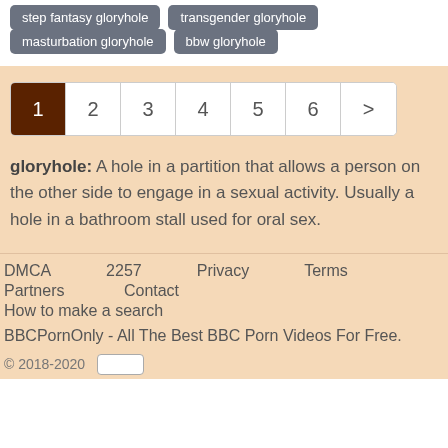step fantasy gloryhole
transgender gloryhole
masturbation gloryhole
bbw gloryhole
1 2 3 4 5 6 >
gloryhole: A hole in a partition that allows a person on the other side to engage in a sexual activity. Usually a hole in a bathroom stall used for oral sex.
DMCA   2257   Privacy   Terms
Partners   Contact
How to make a search

BBCPornOnly - All The Best BBC Porn Videos For Free.

© 2018-2020